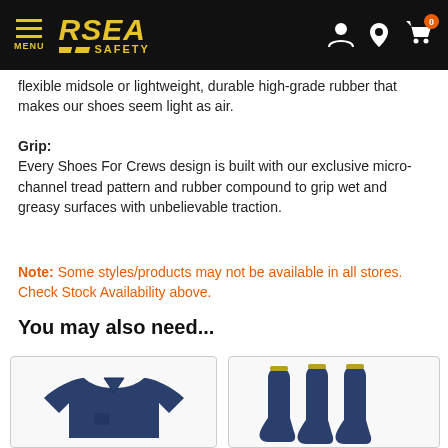RSEA SAFETY — Menu, account, location, cart navigation
flexible midsole or lightweight, durable high-grade rubber that makes our shoes seem light as air.
Grip:
Every Shoes For Crews design is built with our exclusive micro-channel tread pattern and rubber compound to grip wet and greasy surfaces with unbelievable traction.
Note: Some styles/products may not be available in all stores. Check Stock Availability above.
You may also need...
[Figure (photo): Navy blue long-sleeve work shirt]
[Figure (photo): Three navy blue socks shown side by side]